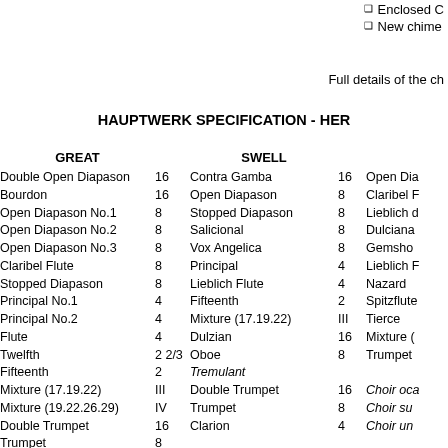Enclosed C
New chime
Full details of the ch
HAUPTWERK SPECIFICATION - HER
| GREAT |  | SWELL |  |  |
| --- | --- | --- | --- | --- |
| Double Open Diapason | 16 | Contra Gamba | 16 | Open Dia |
| Bourdon | 16 | Open Diapason | 8 | Claribel F |
| Open Diapason No.1 | 8 | Stopped Diapason | 8 | Lieblich d |
| Open Diapason No.2 | 8 | Salicional | 8 | Dulciana |
| Open Diapason No.3 | 8 | Vox Angelica | 8 | Gemsho |
| Claribel Flute | 8 | Principal | 4 | Lieblich F |
| Stopped Diapason | 8 | Lieblich Flute | 4 | Nazard |
| Principal No.1 | 4 | Fifteenth | 2 | Spitzflute |
| Principal No.2 | 4 | Mixture (17.19.22) | III | Tierce |
| Flute | 4 | Dulzian | 16 | Mixture ( |
| Twelfth | 2 2/3 | Oboe | 8 | Trumpet |
| Fifteenth | 2 | Tremulant |  |  |
| Mixture (17.19.22) | III | Double Trumpet | 16 | Choir oca |
| Mixture (19.22.26.29) | IV | Trumpet | 8 | Choir su |
| Double Trumpet | 16 | Clarion | 4 | Choir un |
| Trumpet | 8 |  |  |  |
| Clarion | 4 | Swell octave |  | Swell to |